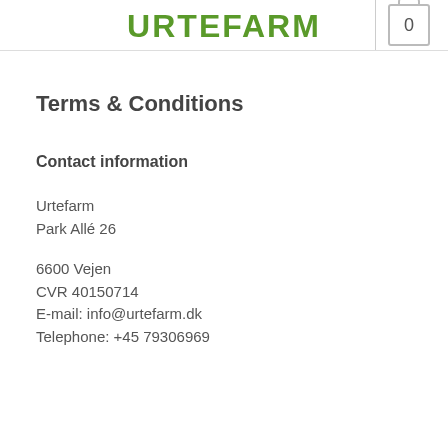URTEFARM
Terms & Conditions
Contact information
Urtefarm
Park Allé 26

6600 Vejen
CVR 40150714
E-mail: info@urtefarm.dk
Telephone: +45 79306969